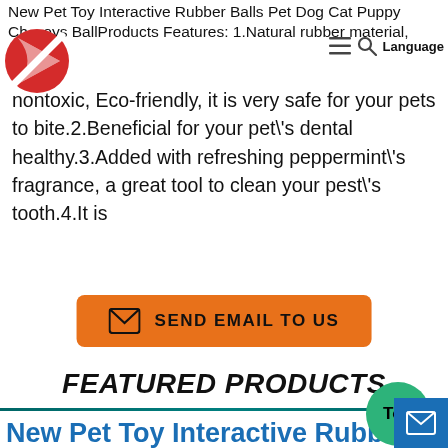New Pet Toy Interactive Rubber Balls Pet Dog Cat Puppy Ch...oys BallProducts Features: 1.Natural rubber material,
[Figure (logo): Red and white circular logo with diagonal arrow/slash design]
nontoxic, Eco-friendly, it is very safe for your pets to bite.2.Beneficial for your pet\'s dental healthy.3.Added with refreshing peppermint\'s fragrance, a great tool to clean your pest\'s tooth.4.It is
[Figure (other): Orange button with envelope icon and text SEND EMAIL TO US]
FEATURED PRODUCTS
New Pet Toy Interactive Rubber B